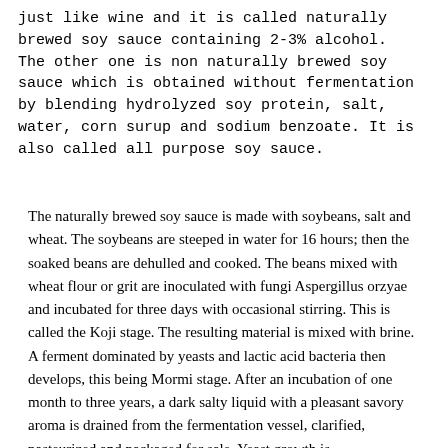just like wine and it is called naturally brewed soy sauce containing 2-3% alcohol. The other one is non naturally brewed soy sauce which is obtained without fermentation by blending hydrolyzed soy protein, salt, water, corn surup and sodium benzoate. It is also called all purpose soy sauce.
The naturally brewed soy sauce is made with soybeans, salt and wheat. The soybeans are steeped in water for 16 hours; then the soaked beans are dehulled and cooked. The beans mixed with wheat flour or grit are inoculated with fungi Aspergillus orzyae and incubated for three days with occasional stirring. This is called the Koji stage. The resulting material is mixed with brine. A ferment dominated by yeasts and lactic acid bacteria then develops, this being Mormi stage. After an incubation of one month to three years, a dark salty liquid with a pleasant savory aroma is drained from the fermentation vessel, clarified, pasteurized and packaged for sale. Yeast growth is